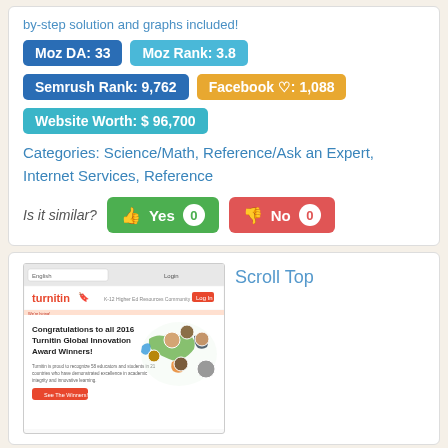by-step solution and graphs included!
Moz DA: 33
Moz Rank: 3.8
Semrush Rank: 9,762
Facebook ♡: 1,088
Website Worth: $ 96,700
Categories: Science/Math, Reference/Ask an Expert, Internet Services, Reference
Is it similar?
Yes 0
No 0
[Figure (screenshot): Screenshot of turnitin.com website showing 'Congratulations to all 2016 Turnitin Global Innovation Award Winners!' with a world map graphic and people photos]
Scroll Top